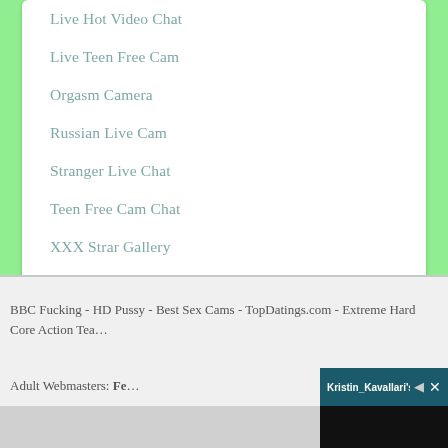Live Hot Video Chat
Live Teen Free Cam
Orgasm Camera
Russian Live Cam
Stranger Live Chat
Teen Free Cam Chat
XXX Strar Gallery
BBC Fucking - HD Pussy - Best Sex Cams - TopDatings.com - Extreme Hard Core Action Tea…
Adult Webmasters: Fe…
[Figure (screenshot): Live chat overlay bar: Kristin_Kavallari's LIVE CHAT with speaker and close icons, over a black video area]